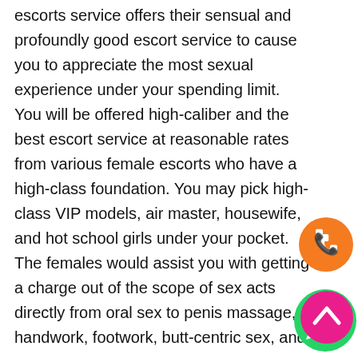escorts service offers their sensual and profoundly good escort service to cause you to appreciate the most sexual experience under your spending limit. You will be offered high-caliber and the best escort service at reasonable rates from various female escorts who have a high-class foundation. You may pick high-class VIP models, air master, housewife, and hot school girls under your pocket. The females would assist you with getting a charge out of the scope of sex acts directly from oral sex to penis massage, handwork, footwork, butt-centric sex, and numerous more.
Enjoy a total satisfactory escort service in Ongole under your spending plan and experience the most sensual meeting mercifully with the sexy escorts. Avail 100% palatable Ongole Hotties Services under your spending limit and feel extraordinary. The nearby friendship that you can work with these women would offer you the hot encounters. Essentially plan a date with a mind-boggling female and play with her body.
[Figure (illustration): Orange circular phone call button with white phone handset icon]
[Figure (illustration): Green WhatsApp circular button with white WhatsApp phone icon]
[Figure (illustration): Pink/magenta circular scroll-up button with white chevron up arrow]